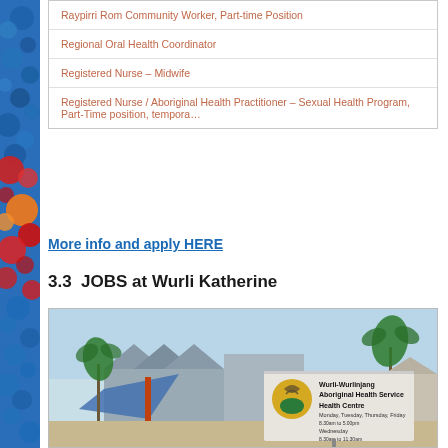| Raypirri Rom Community Worker, Part-time Position |
| Regional Oral Health Coordinator |
| Registered Nurse – Midwife |
| Registered Nurse / Aboriginal Health Practitioner – Sexual Health Program, Part-Time position, tempora… |
More info and apply HERE
3.3  JOBS at Wurli Katherine
[Figure (photo): Exterior photo of the Wurli-Wurlinjang Aboriginal Health Service Health Centre building in Katherine, featuring the organisation's signage with logo, palm trees, and a blue shade sail structure in the foreground.]